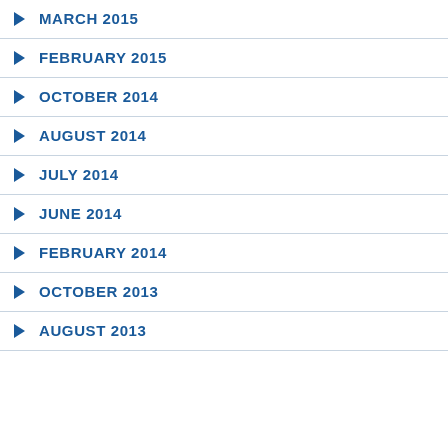MARCH 2015
FEBRUARY 2015
OCTOBER 2014
AUGUST 2014
JULY 2014
JUNE 2014
FEBRUARY 2014
OCTOBER 2013
AUGUST 2013